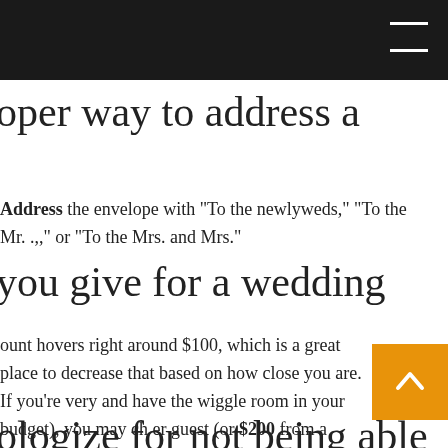[Navigation bar with hamburger menu]
oper way to address a
Address the envelope with “To the newlyweds,” “To the Mr. .,” or “To the Mrs. and Mrs.”
you give for a wedding
ount hovers right around $100, which is a great place to decrease that based on how close you are. If you’re very and have the wiggle room in your budget), you may ch… er guest (or $200 from a couple).
ologize for not being able to